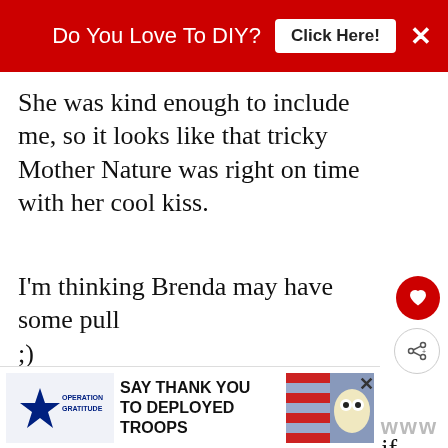Do You Love To DIY? Click Here!
She was kind enough to include me, so it looks like that tricky Mother Nature was right on time with her cool kiss.
I'm thinking Brenda may have some pull ;)
Perhaps you popped on over from Thoughts from Alice's lovely tour, if not h...
[Figure (other): Operation Gratitude advertisement: SAY THANK YOU TO DEPLOYED TROOPS]
www